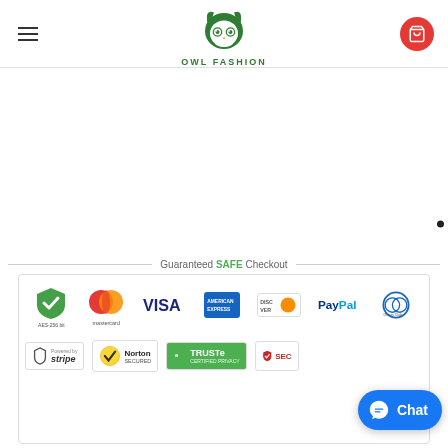Owl Fashion — navigation header with hamburger menu, owl logo, and cart button
[Figure (logo): Owl Fashion green owl logo with text OWL FASHION below]
Guaranteed SAFE Checkout
[Figure (infographic): Guaranteed Safe Checkout badge area with payment icons: AES-256 bit shield, Mastercard, VISA, American Express, Discover, PayPal, Diners Club, Stripe (Powered by), Norton Secured, TRUSTe Certified Privacy, McAfee Secure]